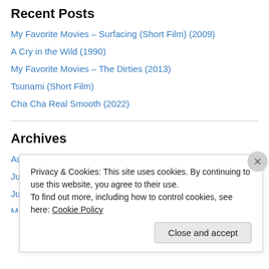Recent Posts
My Favorite Movies – Surfacing (Short Film) (2009)
A Cry in the Wild (1990)
My Favorite Movies – The Dirties (2013)
Tsunami (Short Film)
Cha Cha Real Smooth (2022)
Archives
August 2022
July 2022
June 2022
May 2022
Privacy & Cookies: This site uses cookies. By continuing to use this website, you agree to their use.
To find out more, including how to control cookies, see here: Cookie Policy
Close and accept